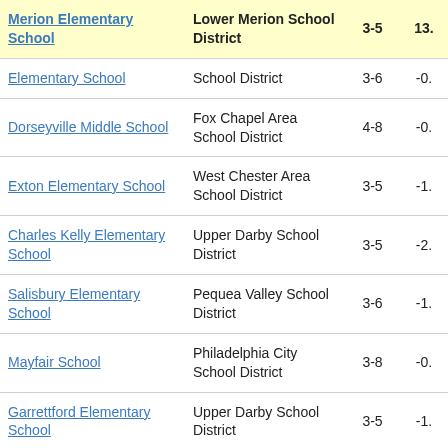| School | District | Grades | Score |
| --- | --- | --- | --- |
| Merion Elementary School | Lower Merion School District | 3-5 | 13. |
| Elementary School | School District | 3-6 | -0. |
| Dorseyville Middle School | Fox Chapel Area School District | 4-8 | -0. |
| Exton Elementary School | West Chester Area School District | 3-5 | -1. |
| Charles Kelly Elementary School | Upper Darby School District | 3-5 | -2. |
| Salisbury Elementary School | Pequea Valley School District | 3-6 | -1. |
| Mayfair School | Philadelphia City School District | 3-8 | -0. |
| Garrettford Elementary School | Upper Darby School District | 3-5 | -1. |
| Trinity South | Trinity Area | 3-5 | -1. |